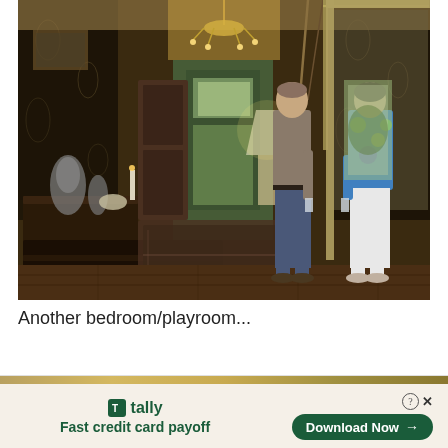[Figure (photo): Interior photo of a grand hallway/foyer in an old historic home. Two people stand in the hallway — a man in jeans and grey shirt on the left holding a drink, and a woman in white pants and colorful top on the right. Dark ornate wallpaper with floral pattern covers the walls. A chandelier hangs from the ceiling. Dark wood antique furniture lines the left side. A rug is on the hardwood floor. A front door with glass panels and staircase are visible in the background.]
Another bedroom/playroom...
[Figure (screenshot): Advertisement banner for Tally app. Gold/olive stripe at top. Beige/cream background. Green Tally logo and text 'Fast credit card payoff' on the left. 'Download Now' button with arrow on the right. Help (?) and close (X) icons in top right corner.]